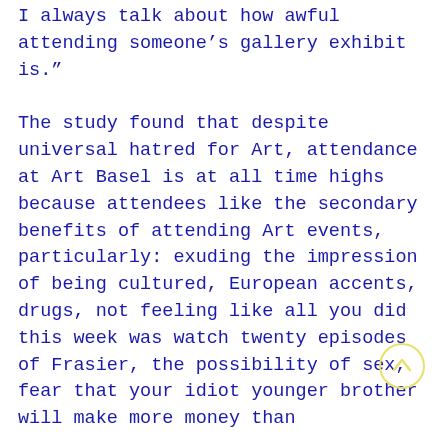I always talk about how awful attending someone's gallery exhibit is."

The study found that despite universal hatred for Art, attendance at Art Basel is at all time highs because attendees like the secondary benefits of attending Art events, particularly: exuding the impression of being cultured, European accents, drugs, not feeling like all you did this week was watch twenty episodes of Frasier, the possibility of sex, fear that your idiot younger brother will make more money than